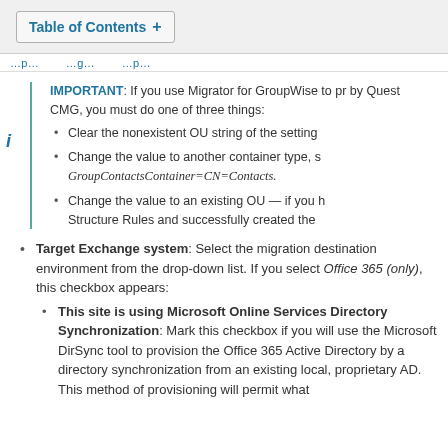Table of Contents +
navigation strip
IMPORTANT: If you use Migrator for GroupWise to pr by Quest CMG, you must do one of three things:
Clear the nonexistent OU string of the setting
Change the value to another container type, s GroupContactsContainer=CN=Contacts.
Change the value to an existing OU — if you h Structure Rules and successfully created the
Target Exchange system: Select the migration destination environment from the drop-down list. If you select Office 365 (only), this checkbox appears:
This site is using Microsoft Online Services Directory Synchronization: Mark this checkbox if you will use the Microsoft DirSync tool to provision the Office 365 Active Directory by a directory synchronization from an existing local, proprietary AD. This method of provisioning will permit what